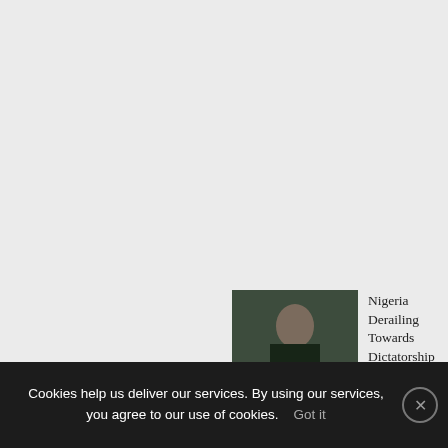MOST RECENT
[Figure (photo): Two men in political setting, one wearing white cap and suit]
Claims Against Security Forces Untrue, Presidency Tackles Ortom
[Figure (photo): Man in casual clothes sitting]
“I Was Always In pains” – Tim Godfrey Recounts How He Survived Paralysis
[Figure (photo): Man in dark suit, Nigerian politician]
Nigeria Derailing Towards Dictatorship – Says Jonathan
[Figure (photo): Man in dark attire, partial view]
Keyamo Counters Okowa, says Constitution Doesn’t
Cookies help us deliver our services. By using our services, you agree to our use of cookies.    Got it